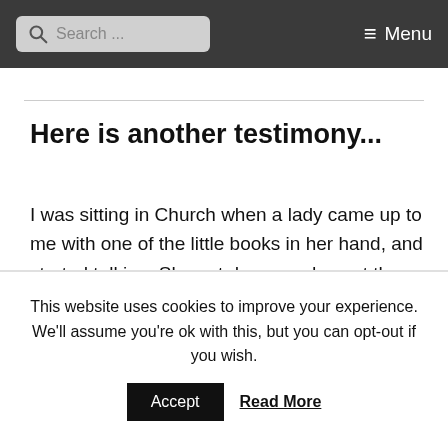Search ... Menu
Here is another testimony...
I was sitting in Church when a lady came up to me with one of the little books in her hand, and started talking. She sat down, and spent the next half hour telling me all the wonderful things that had happened to her since she had picked up one of
This website uses cookies to improve your experience. We'll assume you're ok with this, but you can opt-out if you wish. Accept Read More